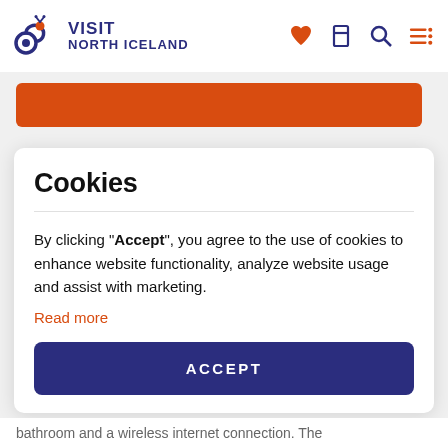VISIT NORTH ICELAND
[Figure (screenshot): Orange button bar partially visible]
Cookies
By clicking "Accept", you agree to the use of cookies to enhance website functionality, analyze website usage and assist with marketing.
Read more
ACCEPT
bathroom and a wireless internet connection. The